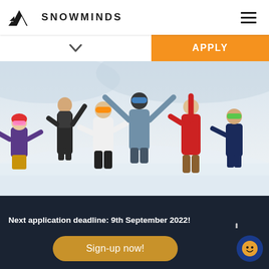SNOWMINDS
[Figure (photo): Group of ski/snowboard instructors in colorful winter gear on a snowy slope, arms raised in celebration]
Next application deadline: 9th September 2022! Book with 100% peace of mind with Snowminds Money Back Guarantee
Sign-up now!